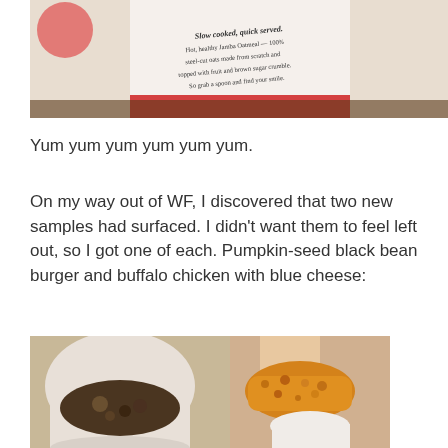[Figure (photo): Close-up of a Jamba Juice oatmeal cup with text: Slow cooked, quick served. Hot, healthy Jamba Oatmeal — 100% steel-cut oats made from scratch and topped with fruit and brown sugar crumble. So grab a spoon and find your smile.]
Yum yum yum yum yum yum.
On my way out of WF, I discovered that two new samples had surfaced. I didn't want them to feel left out, so I got one of each. Pumpkin-seed black bean burger and buffalo chicken with blue cheese:
[Figure (photo): Two small sample cups side by side: left cup contains pumpkin-seed black bean burger (dark crumbled mixture), right side shows a piece of buffalo chicken being held up, golden-fried, over a cup with white blue cheese sauce.]